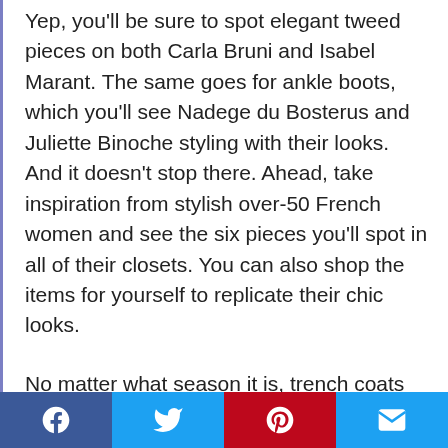Yep, you'll be sure to spot elegant tweed pieces on both Carla Bruni and Isabel Marant. The same goes for ankle boots, which you'll see Nadege du Bosterus and Juliette Binoche styling with their looks. And it doesn't stop there. Ahead, take inspiration from stylish over-50 French women and see the six pieces you'll spot in all of their closets. You can also shop the items for yourself to replicate their chic looks.
No matter what season it is, trench coats are an easy staple to make any outfit looks polished. Whether layered over Bermuda shorts and a tee in the summer or a sweater, trousers, and boots in the winter, this French girl-approved piece is a true
Social share bar: Facebook, Twitter, Pinterest, Email